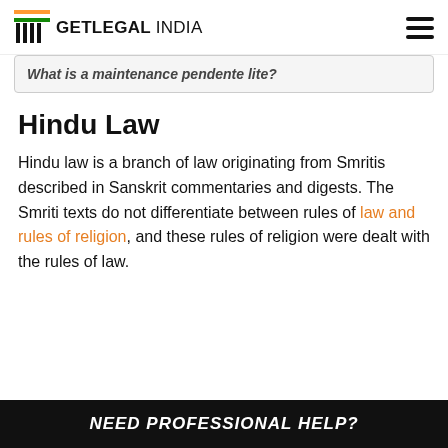GETLEGAL INDIA
What is a maintenance pendente lite?
Hindu Law
Hindu law is a branch of law originating from Smritis described in Sanskrit commentaries and digests. The Smriti texts do not differentiate between rules of law and rules of religion, and these rules of religion were dealt with the rules of law.
NEED PROFESSIONAL HELP?